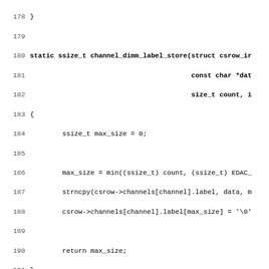[Figure (screenshot): Source code listing in C showing lines 178-210 of a kernel/driver file with channel_dimm_label_store, channel_ce_count_show functions, csrowdev_attribute struct, and #define macros.]